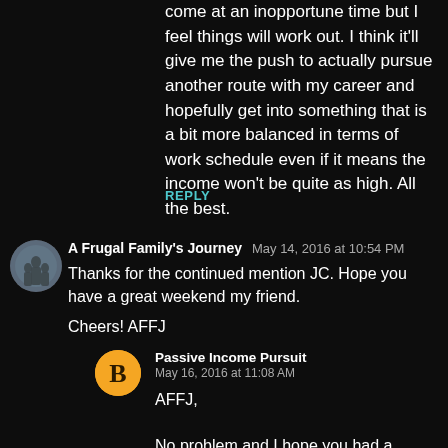come at an inopportune time but I feel things will work out. I think it'll give me the push to actually pursue another route with my career and hopefully get into something that is a bit more balanced in terms of work schedule even if it means the income won't be quite as high. All the best.
REPLY
A Frugal Family's Journey   May 14, 2016 at 10:54 PM
Thanks for the continued mention JC. Hope you have a great weekend my friend.

Cheers! AFFJ
Passive Income Pursuit
May 16, 2016 at 11:08 AM
AFFJ,

No problem and I hope you had a